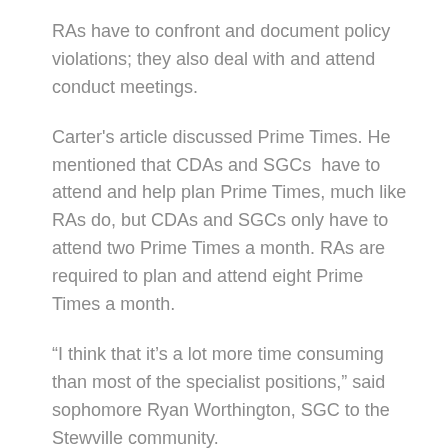RAs have to confront and document policy violations; they also deal with and attend conduct meetings.
Carter's article discussed Prime Times. He mentioned that CDAs and SGCs have to attend and help plan Prime Times, much like RAs do, but CDAs and SGCs only have to attend two Prime Times a month. RAs are required to plan and attend eight Prime Times a month.
“I think that it’s a lot more time consuming than most of the specialist positions,” said sophomore Ryan Worthington, SGC to the Stewville community.
RA training is almost a full week longer than the